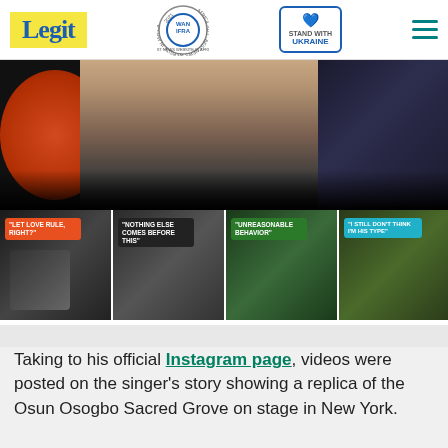Legit — WAN IFRA Best News Website in Africa 2021 — Stand With Ukraine
[Figure (photo): Hero image of two people at a formal event; a woman in cream/beige outfit and a man in dark suit, with a red/orange circular element on the left side]
[Figure (photo): Thumbnail strip with four video thumbnails with text overlays: 'LET LOVE RULE, RIGHT?', 'NOTHING ELSE COMES BEFORE THIS', 'UNREASONABLE BEHAVIOR', 'I STILL DON'T THINK I'M HIS TYPE']
Taking to his official Instagram page, videos were posted on the singer's story showing a replica of the Osun Osogbo Sacred Grove on stage in New York.
READ ALSO
[Figure (other): Advertisement banner: YOUR SUPPORT MATTERS! SAVE THE LIFE OF GIRL AT RISK — Legit Charity / WARF logo — Donate now button]